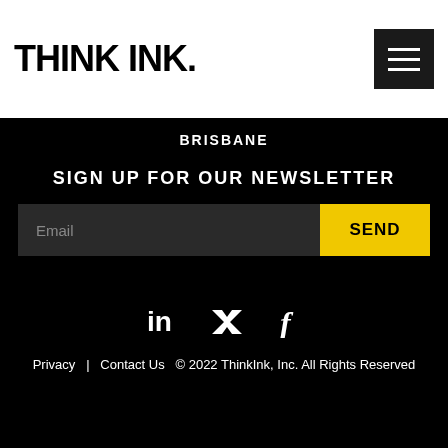THINK INK.
BRISBANE
SIGN UP FOR OUR NEWSLETTER
Email
SEND
[Figure (illustration): Social media icons: LinkedIn (in), Twitter (bird), Facebook (f)]
Privacy  |  Contact Us  © 2022 ThinkInk, Inc. All Rights Reserved